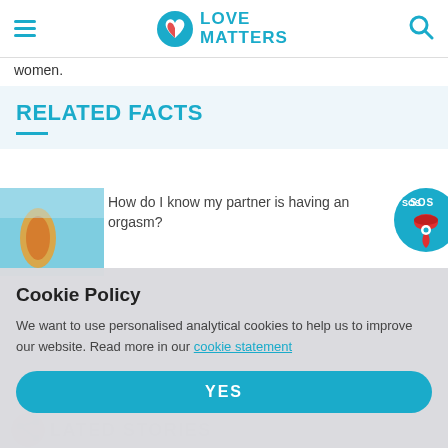LOVE MATTERS
women.
RELATED FACTS
How do I know my partner is having an orgasm?
[Figure (screenshot): SOS badge circle with lips icon]
Cookie Policy
We want to use personalised analytical cookies to help us to improve our website. Read more in our cookie statement
YES